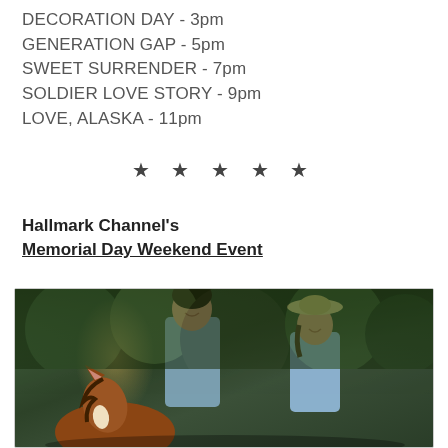DECORATION DAY - 3pm
GENERATION GAP - 5pm
SWEET SURRENDER - 7pm
SOLDIER LOVE STORY - 9pm
LOVE, ALASKA - 11pm
★ ★ ★ ★ ★
Hallmark Channel's
Memorial Day Weekend Event
[Figure (photo): A man and woman horseback riding outdoors among green trees. The man wears a grey shirt and smiles. The woman wears a tan hat and blue shirt and smiles. A horse with brown and white coloring is visible in the foreground.]